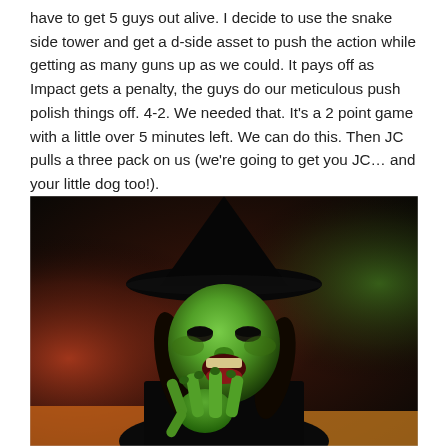have to get 5 guys out alive. I decide to use the snake side tower and get a d-side asset to push the action while getting as many guns up as we could. It pays off as Impact gets a penalty, the guys do our meticulous push polish things off. 4-2. We needed that. It's a 2 point game with a little over 5 minutes left. We can do this. Then JC pulls a three pack on us (we're going to get you JC… and your little dog too!).
[Figure (photo): A person dressed as the Wicked Witch of the West from The Wizard of Oz, with green face makeup, a large black pointed hat, black robe, holding up one hand with fingers raised in a menacing gesture. The image has a blurred, colorful background.]